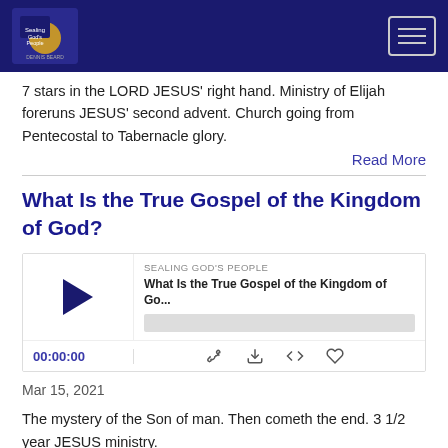Sealing God's People — navigation bar with logo and hamburger menu
7 stars in the LORD JESUS' right hand. Ministry of Elijah foreruns JESUS' second advent. Church going from Pentecostal to Tabernacle glory.
Read More
What Is the True Gospel of the Kingdom of God?
[Figure (other): Podcast audio player widget for 'What Is the True Gospel of the Kingdom of Go...' by Sealing God's People, showing play button, progress bar, time 00:00:00, and playback controls]
Mar 15, 2021
The mystery of the Son of man. Then cometh the end. 3 1/2 year JESUS ministry.